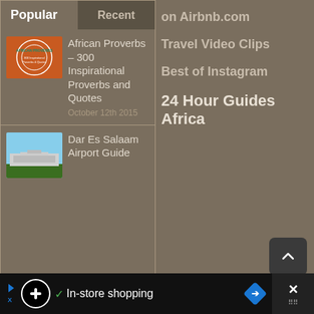Popular
Recent
African Proverbs – 300 Inspirational Proverbs and Quotes
October 12th 2015
Dar Es Salaam Airport Guide
on Airbnb.com
Travel Video Clips
Best of Instagram
24 Hour Guides Africa
In-store shopping